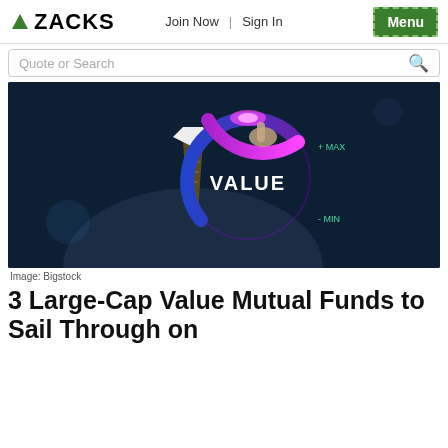ZACKS | Join Now | Sign In | Menu
Quote or Search
[Figure (photo): A businessman in a dark suit pressing a glowing circular dial labeled VALUE with MAX (+) at the top and MIN (-) at the bottom, with purple/blue gradient illumination.]
Image: Bigstock
3 Large-Cap Value Mutual Funds to Sail Through on